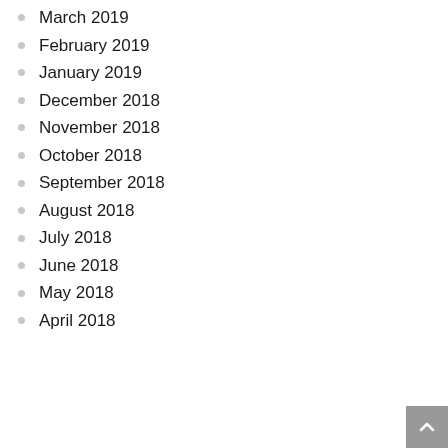March 2019
February 2019
January 2019
December 2018
November 2018
October 2018
September 2018
August 2018
July 2018
June 2018
May 2018
April 2018